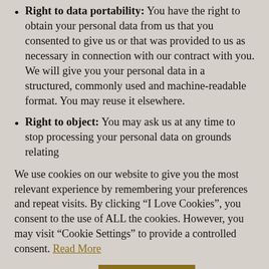Right to data portability: You have the right to obtain your personal data from us that you consented to give us or that was provided to us as necessary in connection with our contract with you. We will give you your personal data in a structured, commonly used and machine-readable format. You may reuse it elsewhere.
Right to object: You may ask us at any time to stop processing your personal data on grounds relating
We use cookies on our website to give you the most relevant experience by remembering your preferences and repeat visits. By clicking “I Love Cookies”, you consent to the use of ALL the cookies. However, you may visit “Cookie Settings” to provide a controlled consent. Read More